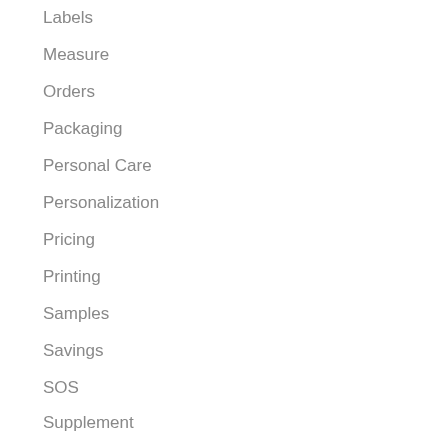Labels
Measure
Orders
Packaging
Personal Care
Personalization
Pricing
Printing
Samples
Savings
SOS
Supplement